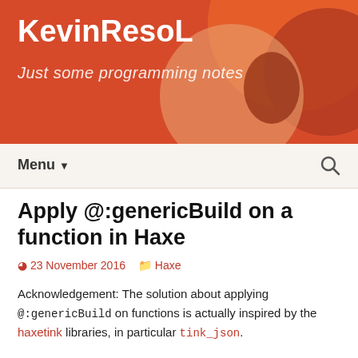KevinResoL — Just some programming notes
Apply @:genericBuild on a function in Haxe
23 November 2016   Haxe
Acknowledgement: The solution about applying @:genericBuild on functions is actually inspired by the haxetink libraries, in particular tink_json.
@:genericBuild in a nutshell
@:genericBuild can be applied to the...